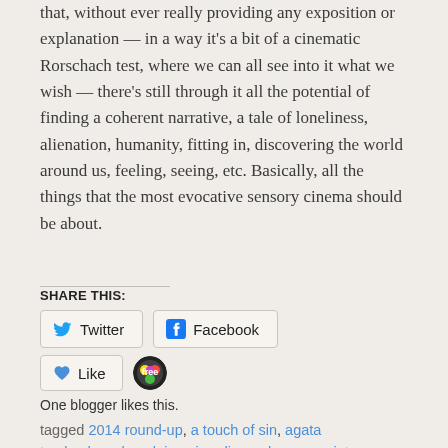that, without ever really providing any exposition or explanation — in a way it's a bit of a cinematic Rorschach test, where we can all see into it what we wish — there's still through it all the potential of finding a coherent narrative, a tale of loneliness, alienation, humanity, fitting in, discovering the world around us, feeling, seeing, etc. Basically, all the things that the most evocative sensory cinema should be about.
SHARE THIS:
Twitter
Facebook
Like
One blogger likes this.
tagged 2014 round-up, a touch of sin, agata trzebuchowska, alain guiraudie, andrey zvyagintsev, boyhood, coen brothers, dardenne